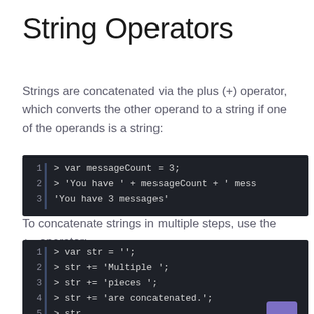String Operators
Strings are concatenated via the plus (+) operator, which converts the other operand to a string if one of the operands is a string:
[Figure (screenshot): Dark-themed code editor snippet showing 3 lines: line 1: > var messageCount = 3; line 2: > 'You have ' + messageCount + ' mess  line 3: 'You have 3 messages']
To concatenate strings in multiple steps, use the += operator:
[Figure (screenshot): Dark-themed code editor snippet showing 6 lines: line 1: > var str = ''; line 2: > str += 'Multiple '; line 3: > str += 'pieces '; line 4: > str += 'are concatenated.'; line 5: > str  line 6: 'Multiple pieces are concatenated.']